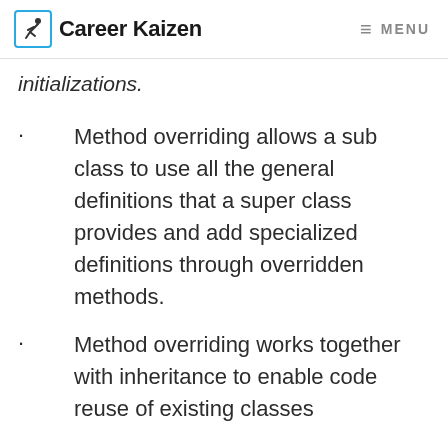Career Kaizen  MENU
initializations.
Method overriding allows a sub class to use all the general definitions that a super class provides and add specialized definitions through overridden methods.
Method overriding works together with inheritance to enable code reuse of existing classes